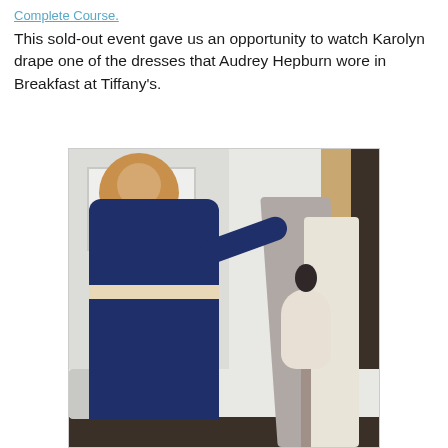Complete Course.
This sold-out event gave us an opportunity to watch Karolyn drape one of the dresses that Audrey Hepburn wore in Breakfast at Tiffany's.
[Figure (photo): A woman with long blonde hair wearing a dark navy blue dress with a beige belt draping grey fabric on a dress mannequin in what appears to be a sewing studio or classroom. A whiteboard and bookshelf are visible in the background.]